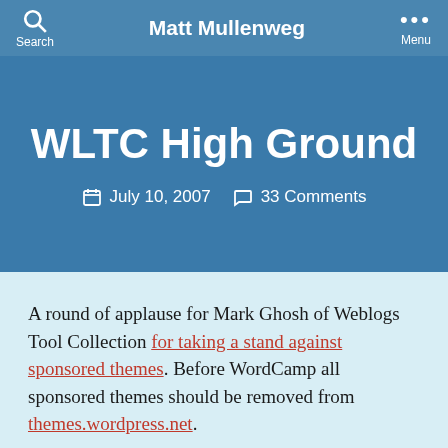Matt Mullenweg
WLTC High Ground
July 10, 2007   33 Comments
A round of applause for Mark Ghosh of Weblogs Tool Collection for taking a stand against sponsored themes. Before WordCamp all sponsored themes should be removed from themes.wordpress.net.
Share this: